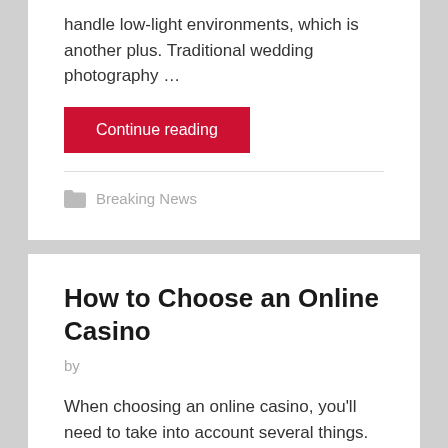handle low-light environments, which is another plus. Traditional wedding photography …
Continue reading
Breaking News
How to Choose an Online Casino
by
When choosing an online casino, you'll need to take into account several things. These factors include payback percentages, game selection, deposit options, and bonus offers. Continue